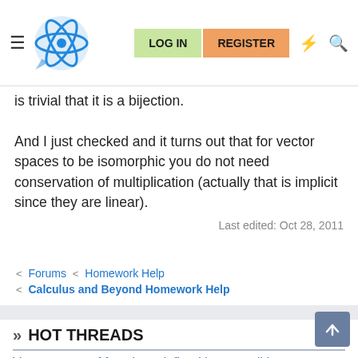Physics Forums navigation bar with logo, LOG IN and REGISTER buttons
is trivial that it is a bijection.

And I just checked and it turns out that for vector spaces to be isomorphic you do not need conservation of multiplication (actually that is implicit since they are linear).
Last edited: Oct 28, 2011
Forums < Homework Help < Calculus and Beyond Homework Help
» HOT THREADS
Vector space of functions defined by a condition